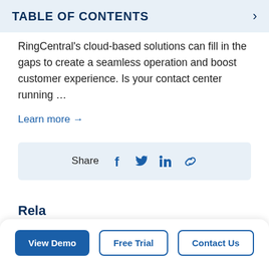TABLE OF CONTENTS
RingCentral's cloud-based solutions can fill in the gaps to create a seamless operation and boost customer experience. Is your contact center running …
Learn more →
Share  f  𝕥  in  🔗
Rela